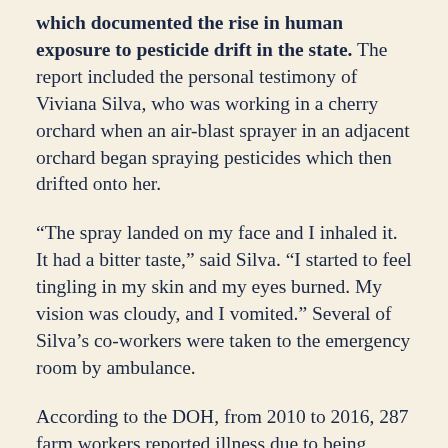which documented the rise in human exposure to pesticide drift in the state. The report included the personal testimony of Viviana Silva, who was working in a cherry orchard when an air-blast sprayer in an adjacent orchard began spraying pesticides which then drifted onto her.
“The spray landed on my face and I inhaled it. It had a bitter taste,” said Silva. “I started to feel tingling in my skin and my eyes burned. My vision was cloudy, and I vomited.” Several of Silva’s co-workers were taken to the emergency room by ambulance.
According to the DOH, from 2010 to 2016, 287 farm workers reported illness due to being exposed to pesticide drift. In 2014, a Mattawa apple orchard applied pesticides using an air-blast sprayer, which then drifted onto the neighboring Wahluke